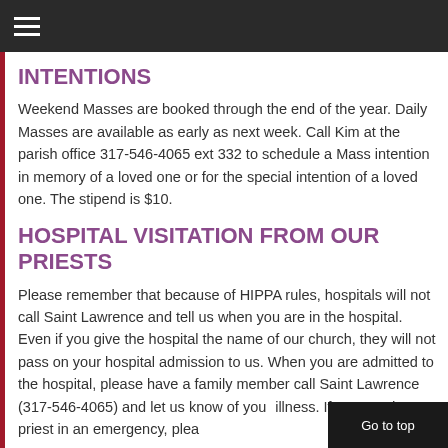≡
INTENTIONS
Weekend Masses are booked through the end of the year. Daily Masses are available as early as next week. Call Kim at the parish office 317-546-4065 ext 332 to schedule a Mass intention in memory of a loved one or for the special intention of a loved one. The stipend is $10.
HOSPITAL VISITATION FROM OUR PRIESTS
Please remember that because of HIPPA rules, hospitals will not call Saint Lawrence and tell us when you are in the hospital. Even if you give the hospital the name of our church, they will not pass on your hospital admission to us. When you are admitted to the hospital, please have a family member call Saint Lawrence (317-546-4065) and let us know of your illness. If you need a priest in an emergency, plea...